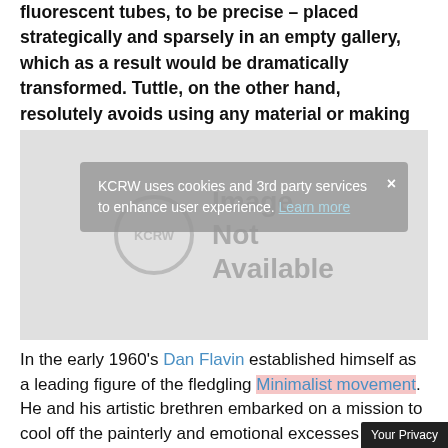fluorescent tubes, to be precise – placed strategically and sparsely in an empty gallery, which as a result would be dramatically transformed. Tuttle, on the other hand, resolutely avoids using any material or making any gesture which even remotely smacks of grandstanding.
[Figure (other): Image Not Available placeholder with KCRW logo circle and text 'Image Not Available'. A cookie consent banner overlays the bottom portion reading 'KCRW uses cookies and 3rd party services to enhance user experience. Learn more' with a close button (×).]
In the early 1960's Dan Flavin established himself as a leading figure of the fledgling Minimalist movement. He and his artistic brethren embarked on a mission to cool off the painterly and emotional excesses of the p